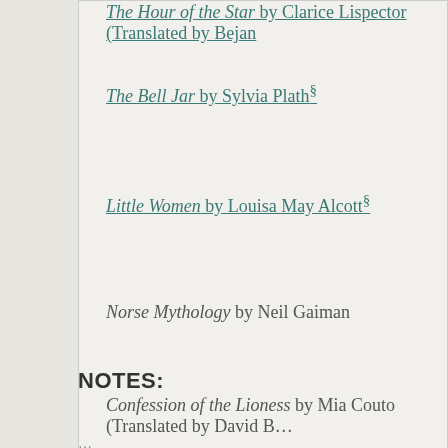The Hour of the Star by Clarice Lispector (Translated by Bejan...
The Bell Jar by Sylvia Plath§
Little Women by Louisa May Alcott§
Norse Mythology by Neil Gaiman
Confession of the Lioness by Mia Couto (Translated by David B...
NOTES: